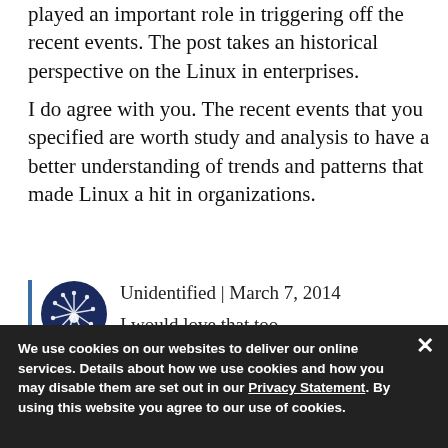played an important role in triggering off the recent events. The post takes an historical perspective on the Linux in enterprises.
I do agree with you. The recent events that you specified are worth study and analysis to have a better understanding of trends and patterns that made Linux a hit in organizations.
Unidentified | March 7, 2014
I would love that too.
We use cookies on our websites to deliver our online services. Details about how we use cookies and how you may disable them are set out in our Privacy Statement. By using this website you agree to our use of cookies.